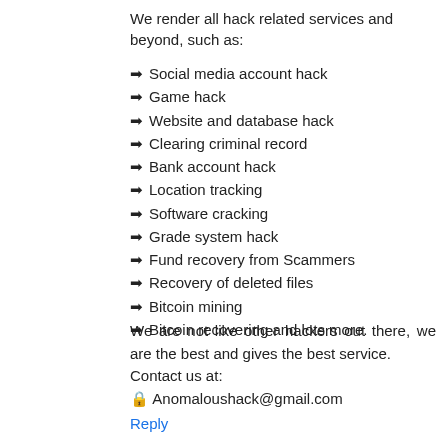We render all hack related services and beyond, such as:
➡ Social media account hack
➡ Game hack
➡ Website and database hack
➡ Clearing criminal record
➡ Bank account hack
➡ Location tracking
➡ Software cracking
➡ Grade system hack
➡ Fund recovery from Scammers
➡ Recovery of deleted files
➡ Bitcoin mining
➡ Bitcoin recovering and lots more.
We are not like other hackers out there, we are the best and gives the best service.
Contact us at:
🔒 Anomaloushack@gmail.com
Reply